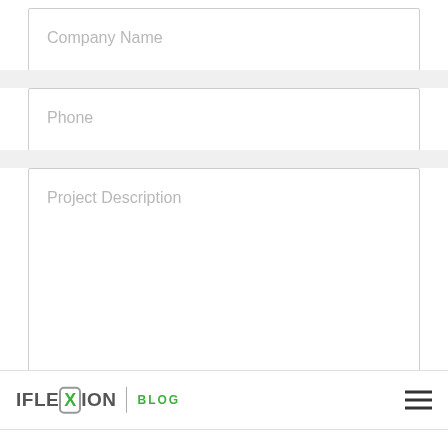Company Name
Phone
Project Description
[Figure (logo): IFLEXION BLOG logo with X in a rounded rectangle box, followed by a vertical divider and BLOG text in green]
Attach file
Up to 5 attachments. File must be less than 5 MB.